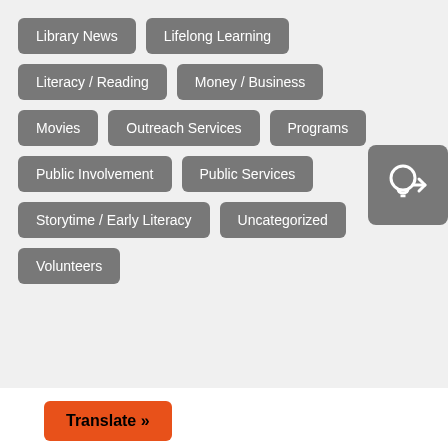Library News
Lifelong Learning
Literacy / Reading
Money / Business
Movies
Outreach Services
Programs
Public Involvement
Public Services
Storytime / Early Literacy
Uncategorized
Volunteers
[Figure (illustration): A lightbulb icon in white on a dark grey rounded square background]
Translate »